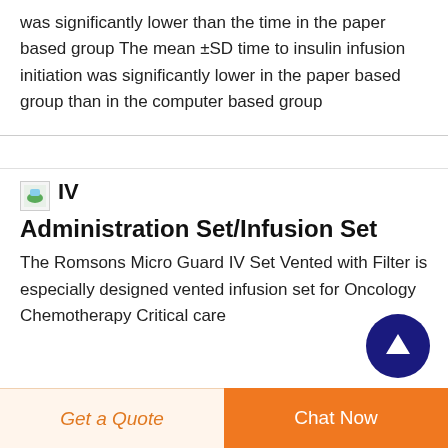was significantly lower than the time in the paper based group The mean ±SD time to insulin infusion initiation was significantly lower in the paper based group than in the computer based group
IV Administration Set/Infusion Set
The Romsons Micro Guard IV Set Vented with Filter is especially designed vented infusion set for Oncology Chemotherapy Critical care
[Figure (other): Scroll to top button - dark blue circle with upward arrow]
Get a Quote | Chat Now